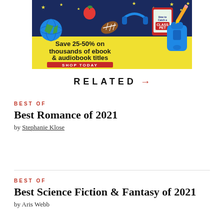[Figure (illustration): Advertisement banner with back-to-school theme: dark navy top half with stars, apple, football, headphones, and ebook tablet showing 'How to Catch a Class Pet'. Yellow bottom half with blue backpack. Text reads 'Save 25-50% on thousands of ebook & audiobook titles' with a red 'SHOP TODAY' button.]
RELATED →
BEST OF
Best Romance of 2021
by Stephanie Klose
BEST OF
Best Science Fiction & Fantasy of 2021
by Aris Webb